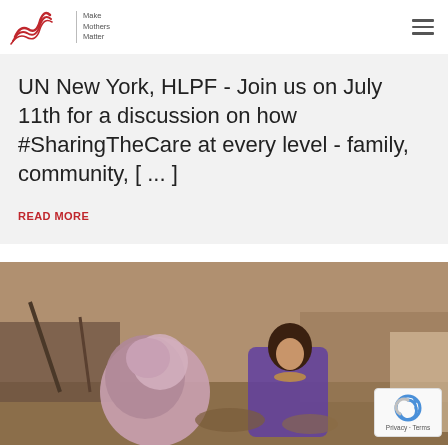Make Mothers Matter
UN New York, HLPF - Join us on July 11th for a discussion on how #SharingTheCare at every level - family, community, [ ... ]
READ MORE
[Figure (photo): Two women/girls in traditional clothing working outdoors in a dusty, impoverished setting]